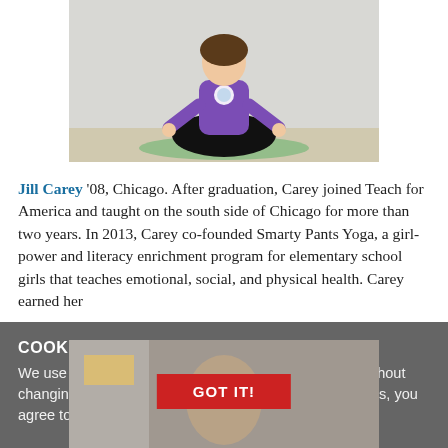[Figure (photo): Person in purple t-shirt sitting in yoga lotus meditation pose on a green mat against a white wall]
Jill Carey '08, Chicago. After graduation, Carey joined Teach for America and taught on the south side of Chicago for more than two years. In 2013, Carey co-founded Smarty Pants Yoga, a girl-power and literacy enrichment program for elementary school girls that teaches emotional, social, and physical health. Carey earned her
COOKIE NOTICE
We use cookies on this site. By continuing to browse without changing your browser settings to block or delete cookies, you agree to the UW–Madison Privacy Notice.
[Figure (photo): Partially visible person's face in bottom photo, overlaid with a red GOT IT! button]